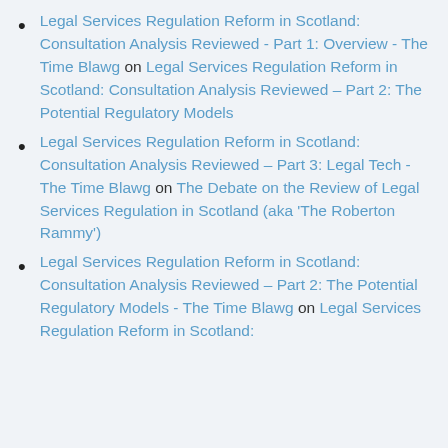Legal Services Regulation Reform in Scotland: Consultation Analysis Reviewed - Part 1: Overview - The Time Blawg on Legal Services Regulation Reform in Scotland: Consultation Analysis Reviewed – Part 2: The Potential Regulatory Models
Legal Services Regulation Reform in Scotland: Consultation Analysis Reviewed – Part 3: Legal Tech - The Time Blawg on The Debate on the Review of Legal Services Regulation in Scotland (aka 'The Roberton Rammy')
Legal Services Regulation Reform in Scotland: Consultation Analysis Reviewed – Part 2: The Potential Regulatory Models - The Time Blawg on Legal Services Regulation Reform in Scotland: